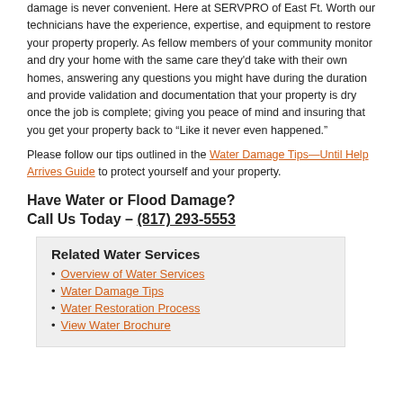damage is never convenient. Here at SERVPRO of East Ft. Worth our technicians have the experience, expertise, and equipment to restore your property properly. As fellow members of your community monitor and dry your home with the same care they'd take with their own homes, answering any questions you might have during the duration and provide validation and documentation that your property is dry once the job is complete; giving you peace of mind and insuring that you get your property back to “Like it never even happened.”
Please follow our tips outlined in the Water Damage Tips—Until Help Arrives Guide to protect yourself and your property.
Have Water or Flood Damage? Call Us Today – (817) 293-5553
Related Water Services
Overview of Water Services
Water Damage Tips
Water Restoration Process
View Water Brochure